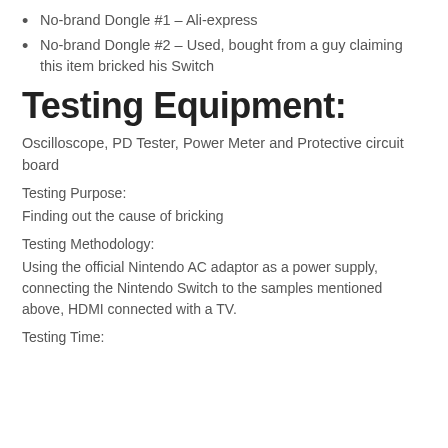No-brand Dongle #1 – Ali-express
No-brand Dongle #2 – Used, bought from a guy claiming this item bricked his Switch
Testing Equipment:
Oscilloscope, PD Tester, Power Meter and Protective circuit board
Testing Purpose:
Finding out the cause of bricking
Testing Methodology:
Using the official Nintendo AC adaptor as a power supply, connecting the Nintendo Switch to the samples mentioned above, HDMI connected with a TV.
Testing Time: